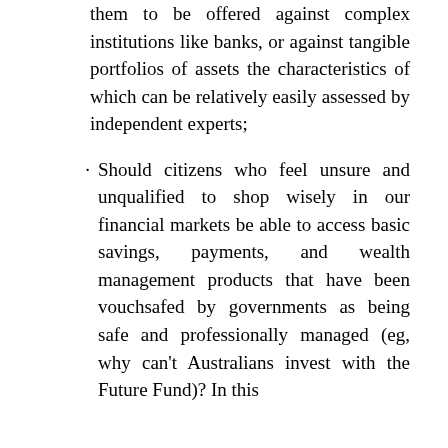them to be offered against complex institutions like banks, or against tangible portfolios of assets the characteristics of which can be relatively easily assessed by independent experts;
Should citizens who feel unsure and unqualified to shop wisely in our financial markets be able to access basic savings, payments, and wealth management products that have been vouchsafed by governments as being safe and professionally managed (eg, why can't Australians invest with the Future Fund)? In this